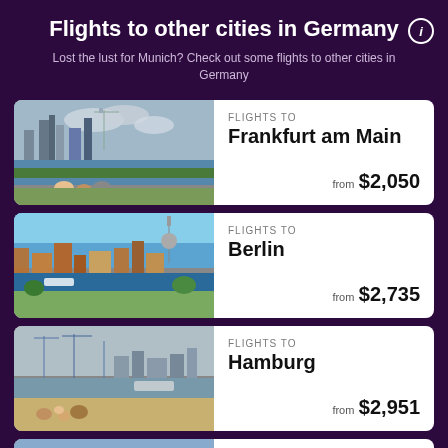Flights to other cities in Germany
Lost the lust for Munich? Check out some flights to other cities in Germany
[Figure (photo): Frankfurt am Main city skyline with river and people sitting on grass]
FLIGHTS TO Frankfurt am Main from $2,050
[Figure (photo): Aerial view of Berlin city with TV tower and river]
FLIGHTS TO Berlin from $2,735
[Figure (photo): Hamburg harbor waterfront with cranes and people on sandy beach]
FLIGHTS TO Hamburg from $2,951
[Figure (photo): Partial card showing another city]